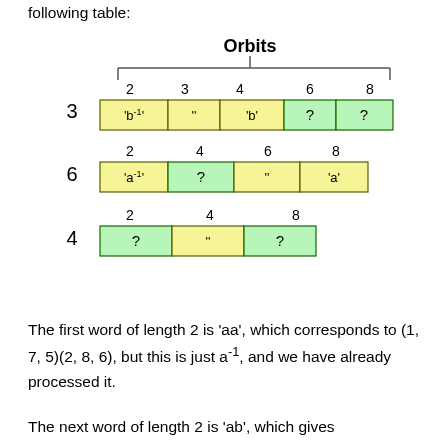following table:
[Figure (other): Table showing orbits for rows 3, 6, and 4. Row 3 has columns 2,3,4,6,8 with cells 'b⁻¹', '', 'b', ?, ? (yellow/green). Row 6 has columns 2,4,6,8 with cells 'a⁻¹', ?, '', 'a' (yellow/green). Row 4 has columns 2,4,8 with cells ?, '', ? (green/yellow/green).]
The first word of length 2 is 'aa', which corresponds to (1, 7, 5)(2, 8, 6), but this is just a⁻¹, and we have already processed it.
The next word of length 2 is 'ab', which gives